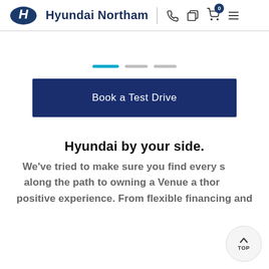Hyundai Northam
[Figure (other): Carousel slider indicator dots: one active blue dot and two inactive grey dots]
Book a Test Drive
Hyundai by your side.
We've tried to make sure you find every stage along the path to owning a Venue a thorough positive experience. From flexible financing and